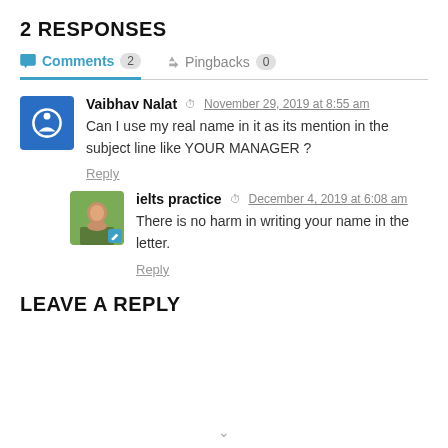2 RESPONSES
Comments 2   Pingbacks 0
Vaibhav Nalat  November 29, 2019 at 8:55 am
Can I use my real name in it as its mention in the subject line like YOUR MANAGER ?
Reply
ielts practice  December 4, 2019 at 6:08 am
There is no harm in writing your name in the letter.
Reply
LEAVE A REPLY